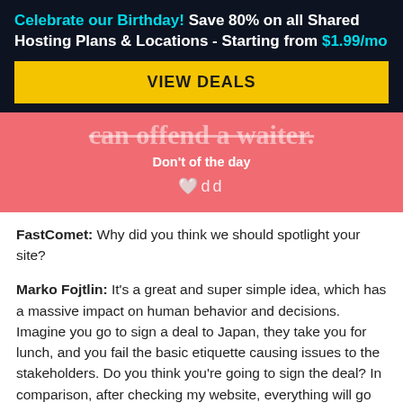Celebrate our Birthday! Save 80% on all Shared Hosting Plans & Locations - Starting from $1.99/mo
[Figure (other): Yellow VIEW DEALS button on dark navy background]
[Figure (other): Pink section with partially visible strikethrough text 'can offend a waiter.', label 'Don't of the day', and a small heart logo]
FastComet: Why did you think we should spotlight your site?
Marko Fojtlin: It's a great and super simple idea, which has a massive impact on human behavior and decisions. Imagine you go to sign a deal to Japan, they take you for lunch, and you fail the basic etiquette causing issues to the stakeholders. Do you think you're going to sign the deal? In comparison, after checking my website, everything will go smoothly. And this is only one example of its usage.